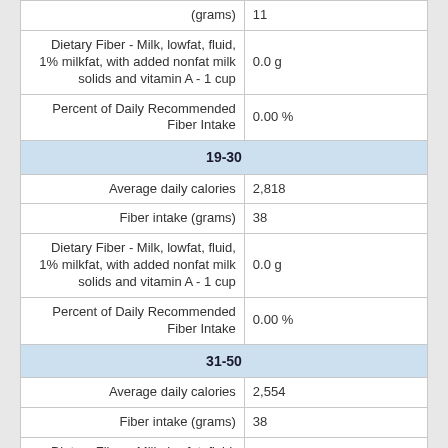| Field | Value |
| --- | --- |
| Fiber intake (grams) | 11 |
| Dietary Fiber - Milk, lowfat, fluid, 1% milkfat, with added nonfat milk solids and vitamin A - 1 cup | 0.0 g |
| Percent of Daily Recommended Fiber Intake | 0.00 % |
| 19-30 |  |
| Average daily calories | 2,818 |
| Fiber intake (grams) | 38 |
| Dietary Fiber - Milk, lowfat, fluid, 1% milkfat, with added nonfat milk solids and vitamin A - 1 cup | 0.0 g |
| Percent of Daily Recommended Fiber Intake | 0.00 % |
| 31-50 |  |
| Average daily calories | 2,554 |
| Fiber intake (grams) | 38 |
| Dietary Fiber - Milk, lowfat, fluid, 1% milkfat, with | 0.0 g |